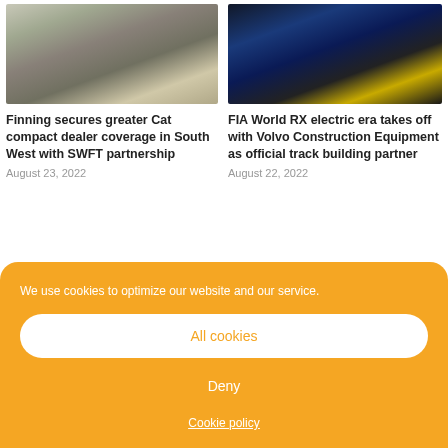[Figure (photo): Photo of people standing in front of Cat compact excavators at a dealer site]
[Figure (photo): Photo of FIA World RX electric era event with Volvo Construction Equipment, showing excavator and blue branding]
Finning secures greater Cat compact dealer coverage in South West with SWFT partnership
August 23, 2022
FIA World RX electric era takes off with Volvo Construction Equipment as official track building partner
August 22, 2022
We use cookies to optimize our website and our service.
All cookies
Deny
Cookie policy